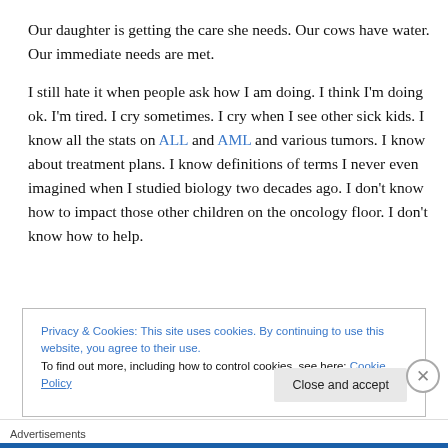Our daughter is getting the care she needs. Our cows have water. Our immediate needs are met.
I still hate it when people ask how I am doing. I think I'm doing ok. I'm tired. I cry sometimes. I cry when I see other sick kids. I know all the stats on ALL and AML and various tumors. I know about treatment plans. I know definitions of terms I never even imagined when I studied biology two decades ago. I don't know how to impact those other children on the oncology floor. I don't know how to help.
Privacy & Cookies: This site uses cookies. By continuing to use this website, you agree to their use. To find out more, including how to control cookies, see here: Cookie Policy
Close and accept
Advertisements